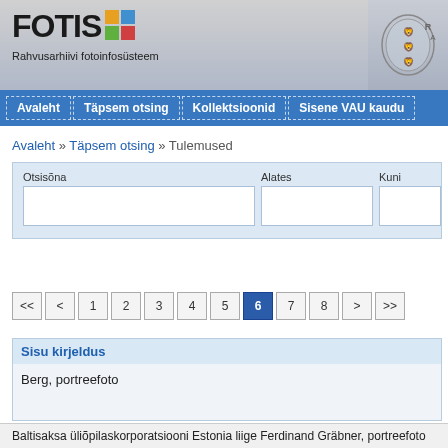[Figure (logo): FOTIS logo with colored squares grid and text 'Rahvusarhiivi fotoinfosüsteem']
[Figure (logo): Estonian coat of arms / government seal on right side of header]
Avaleht | Täpsem otsing | Kollektsioonid | Sisene VAU kaudu
Avaleht » Täpsem otsing » Tulemused
Otsisõna
Alates
Kuni
<<  <  1  2  3  4  5  6  7  8  >  >>
Sisu kirjeldus
Berg, portreefoto
Baltisaksa üliõpilaskorporatsiooni Estonia liige Ferdinand Gräbner, portreefoto